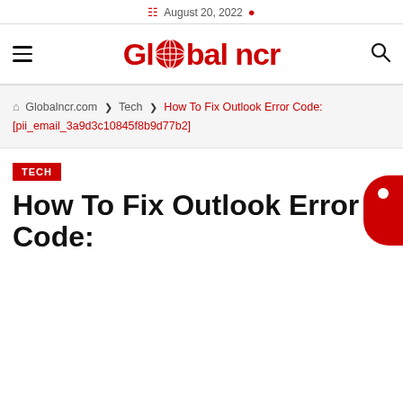August 20, 2022
[Figure (logo): Global NCR website logo with hamburger menu and search icon]
Globalncr.com > Tech > How To Fix Outlook Error Code: [pii_email_3a9d3c10845f8b9d77b2]
TECH
How To Fix Outlook Error Code: